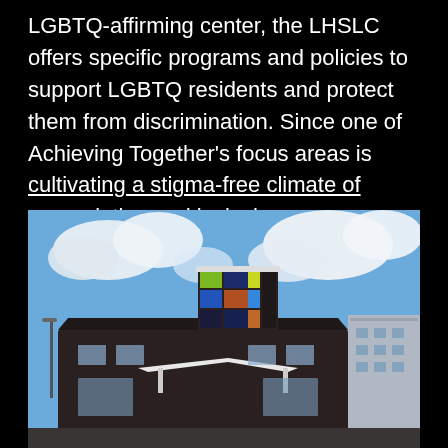LGBTQ-affirming center, the LHSLC offers specific programs and policies to support LGBTQ residents and protect them from discrimination. Since one of Achieving Together's focus areas is cultivating a stigma-free climate of appreciation and inclusion, we interviewed staff from the new Senior Living Center to learn more about the program.
[Figure (photo): Exterior photo of the LGBTQ-affirming Senior Living Center building. A dark brown/black building with a distinctive colorful stained-glass-like tower feature on the roof with green, blue, orange, and dark colored panels. White canopy entrance at the front. Blue sky with white clouds in the background. A lighter colored apartment building visible to the right.]